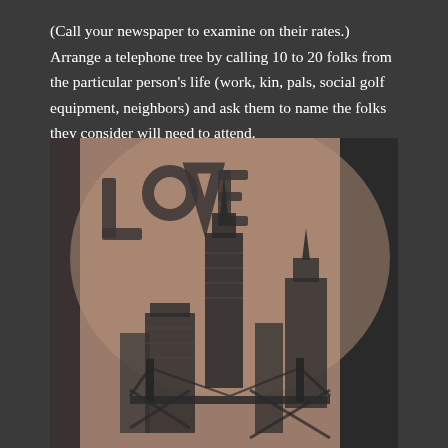(Call your newspaper to examine on their rates.) Arrange a telephone tree by calling 10 to 20 folks from the particular person's life (work, kin, pals, social golf equipment, neighbors) and ask them to name the folks they consider will need to attend.
[Figure (photo): Black and white tattoo on a person's arm/side depicting the Philadelphia skyline with city buildings and bridge, along with a stylized 'LOVE' sculpture design in the upper left.]